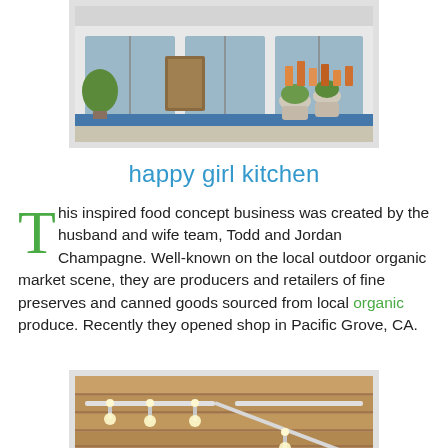[Figure (photo): Exterior of the Happy Girl Kitchen shop showing storefront with plants and window displays]
happy girl kitchen
This inspired food concept business was created by the husband and wife team, Todd and Jordan Champagne. Well-known on the local outdoor organic market scene, they are producers and retailers of fine preserves and canned goods sourced from local organic produce. Recently they opened shop in Pacific Grove, CA.
[Figure (photo): Interior of the Happy Girl Kitchen shop showing wooden ceiling with track lighting]